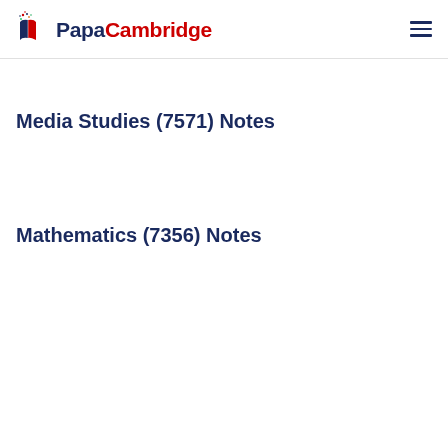PapaCambridge
Media Studies (7571) Notes
Mathematics (7356) Notes